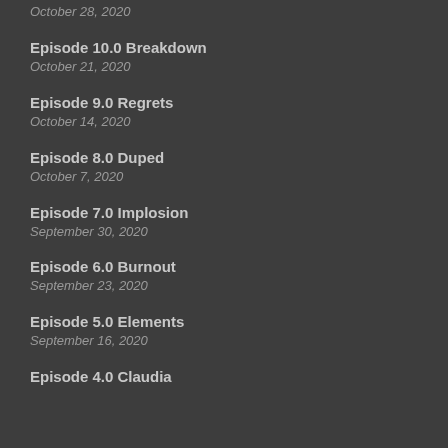October 28, 2020
Episode 10.0 Breakdown
October 21, 2020
Episode 9.0 Regrets
October 14, 2020
Episode 8.0 Duped
October 7, 2020
Episode 7.0 Implosion
September 30, 2020
Episode 6.0 Burnout
September 23, 2020
Episode 5.0 Elements
September 16, 2020
Episode 4.0 Claudia